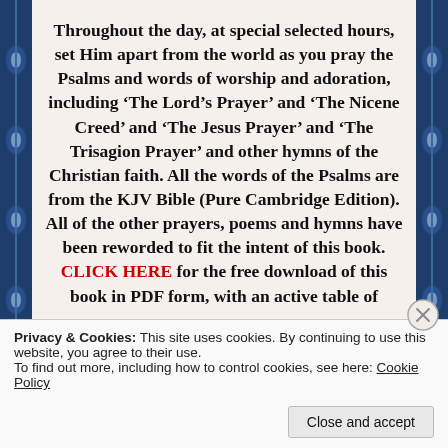Throughout the day, at special selected hours, set Him apart from the world as you pray the Psalms and words of worship and adoration, including ‘The Lord’s Prayer’ and ‘The Nicene Creed’ and ‘The Jesus Prayer’ and ‘The Trisagion Prayer’ and other hymns of the Christian faith. All the words of the Psalms are from the KJV Bible (Pure Cambridge Edition). All of the other prayers, poems and hymns have been reworded to fit the intent of this book. CLICK HERE for the free download of this book in PDF form, with an active table of
Privacy & Cookies: This site uses cookies. By continuing to use this website, you agree to their use.
To find out more, including how to control cookies, see here: Cookie Policy
Close and accept